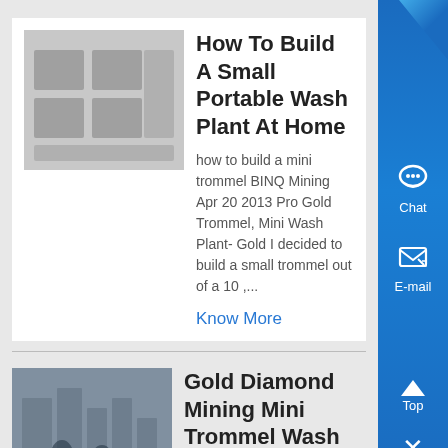How To Build A Small Portable Wash Plant At Home
how to build a mini trommel BINQ Mining Apr 20 2013 Pro Gold Trommel, Mini Wash Plant- Gold I decided to build a small trommel out of a 10 ,...
Know More
Gold Diamond Mining Mini Trommel Wash Plants 5
The Mini Gold Trommel Wash Plant is an easily portable Gold Wash Plant that can be towed by an ATV, and can be broken down to its major components in under 1 minute Complete with 2-stage 60 x 10 Sluice box this Trommel features excellent gold recovery...